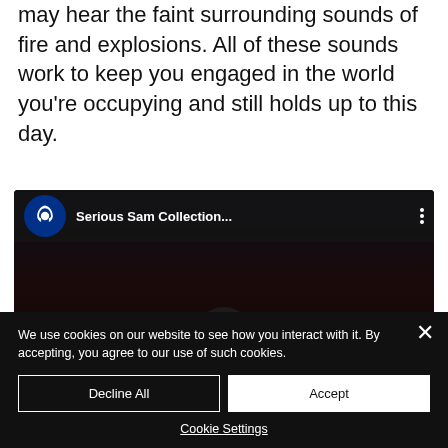may hear the faint surrounding sounds of fire and explosions. All of these sounds work to keep you engaged in the world you're occupying and still holds up to this day.
[Figure (screenshot): YouTube video embed showing 'Serious Sam Collection...' with PlayStation logo, play button, and dark game title background]
We use cookies on our website to see how you interact with it. By accepting, you agree to our use of such cookies.
Decline All
Accept
Cookie Settings